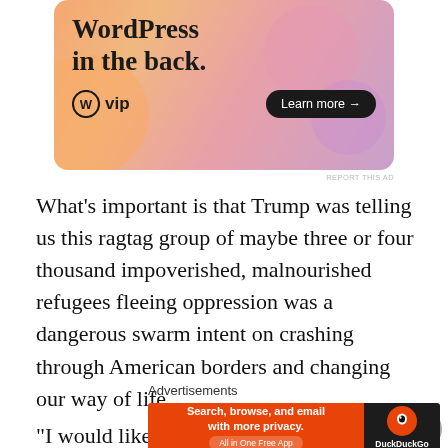[Figure (other): WordPress VIP advertisement with orange-pink gradient background showing text 'WordPress in the back.' with WP VIP logo and 'Learn more →' button]
What's important is that Trump was telling us this ragtag group of maybe three or four thousand impoverished, malnourished refugees fleeing oppression was a dangerous swarm intent on crashing through American borders and changing our way of life.
[Figure (other): DuckDuckGo advertisement: 'Search, browse, and email with more privacy. All in One Free App' with DuckDuckGo logo on dark background]